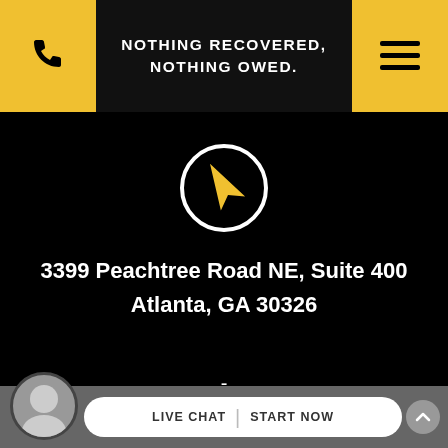NOTHING RECOVERED, NOTHING OWED.
[Figure (illustration): Navigation/location arrow icon inside a white circle on black background]
3399 Peachtree Road NE, Suite 400
Atlanta, GA 30326
-
125 Townpark Drive, Suite 300
Kennesaw, GA 30144
LIVE CHAT | START NOW